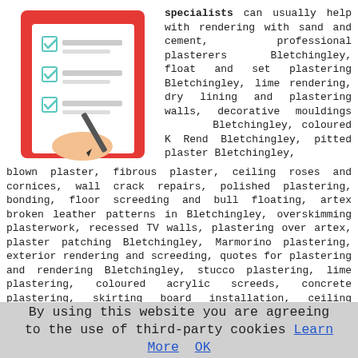[Figure (illustration): Checklist illustration with red background, showing a clipboard with three green checkmarks and a hand holding a pen]
specialists can usually help with rendering with sand and cement, professional plasterers Bletchingley, float and set plastering Bletchingley, lime rendering, dry lining and plastering walls, decorative mouldings Bletchingley, coloured K Rend Bletchingley, pitted plaster Bletchingley, blown plaster, fibrous plaster, ceiling roses and cornices, wall crack repairs, polished plastering, bonding, floor screeding and bull floating, artex broken leather patterns in Bletchingley, overskimming plasterwork, recessed TV walls, plastering over artex, plaster patching Bletchingley, Marmorino plastering, exterior rendering and screeding, quotes for plastering and rendering Bletchingley, stucco plastering, lime plastering, coloured acrylic screeds, concrete plastering, skirting board installation, ceiling overboarding, drywall plastering and skimming in Bletchingley and other plastering work in Bletchingley, Surrey.
By using this website you are agreeing to the use of third-party cookies Learn More OK